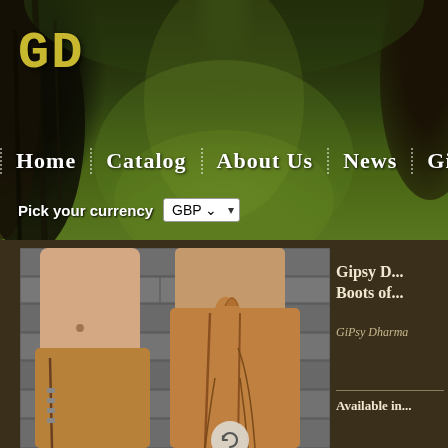[Figure (photo): Forest/woodland background with large tree trunks and green canopy, used as website header background image]
GD
Home | Catalog | About Us | News | Giveawa...
Pick your currency GBP ▾
[Figure (photo): Close-up photo of person's legs wearing tall tan/brown leather lace-up boots with zipper detail, against stone wall background]
Gipsy D... Boots of...
GiPsy Dharma
Available in...